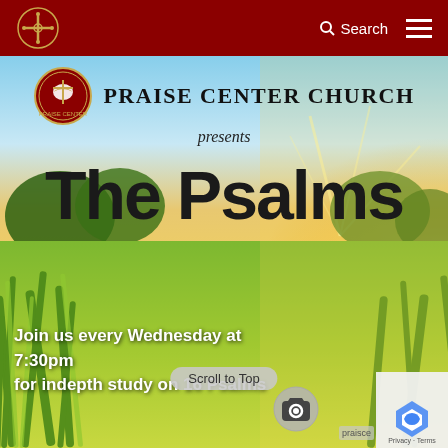Search [navigation bar with hamburger menu]
[Figure (illustration): Praise Center Church banner image showing a sunny green grass field landscape with bright sunlight rays and trees in the background. Overlay text includes the church name, logo, 'presents', 'The Psalms', and a Wednesday meeting announcement.]
PRAISE CENTER CHURCH
presents
The Psalms
Join us every Wednesday at 7:30pm for indepth study on 16 Psalms
Scroll to Top